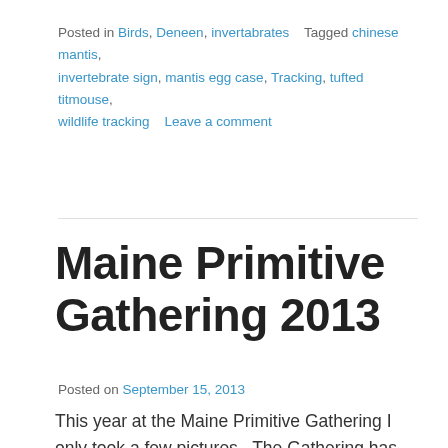Posted in Birds, Deneen, invertabrates   Tagged chinese mantis, invertebrate sign, mantis egg case, Tracking, tufted titmouse, wildlife tracking   Leave a comment
Maine Primitive Gathering 2013
Posted on September 15, 2013
This year at the Maine Primitive Gathering I only took a few pictures.  The Gathering has come to be so important to me, a chance to see so many special people and feel part of a community that shares a common interest.  My